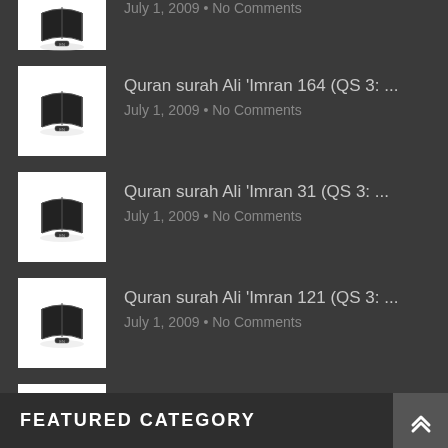Quran surah Ali 'Imran 164 (QS 3: …
July 1, 2009 • No Comments
Quran surah Ali 'Imran 31 (QS 3: …
July 1, 2009 • No Comments
Quran surah Ali 'Imran 121 (QS 3: …
July 1, 2009 • No Comments
Quran surah Ali 'Imran 192 (QS 3: …
July 1, 2009 • No Comments
FEATURED CATEGORY